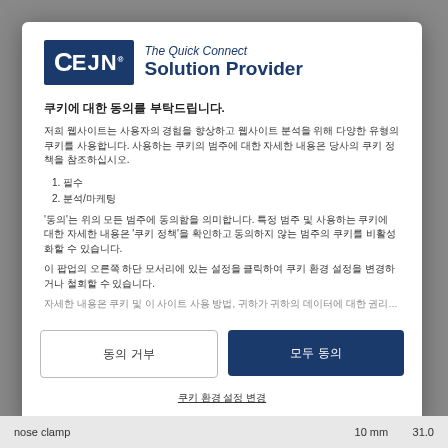[Figure (logo): CEJN logo with tagline 'The Quick Connect Solution Provider']
쿠키에 대한 동의를 부탁드립니다.
저희 웹사이트는 사용자의 경험을 향상하고 웹사이트 분석을 위해 다양한 유형의 쿠키를 사용합니다. 사용하는 쿠키의 범주에 대한 자세한 내용은 당사의 쿠키 정책을 참조하십시오.
1. 필수
2. 분석/마케팅
'동의'는 위의 모든 범주에 동의함을 의미합니다. 특정 범주 및 사용하는 쿠키에 대한 자세한 내용은 '쿠키 정책'을 확인하고 동의하지 않는 범주의 쿠키를 비활성화할 수 있습니다.
이 팝업의 오른쪽 하단 모서리에 있는 설정을 클릭하여 쿠키 환경 설정을 변경하거나 철회할 수 있습니다.
자세한 내용은 쿠키 및 이 사이트 사용 방법, 귀하가 귀하의 데이터에 대한 권리를 행사하는 방법에 관한 당사의 쿠키 정책을 참조하십시오.
동의 거부
모두 동의
쿠키 환경 설정 변경